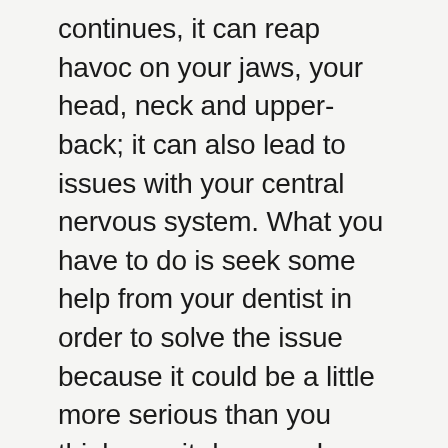continues, it can reap havoc on your jaws, your head, neck and upper-back; it can also lead to issues with your central nervous system. What you have to do is seek some help from your dentist in order to solve the issue because it could be a little more serious than you think, so sit down and have a chat about your issues that you go through each day. It is your oral future we are talking about here.